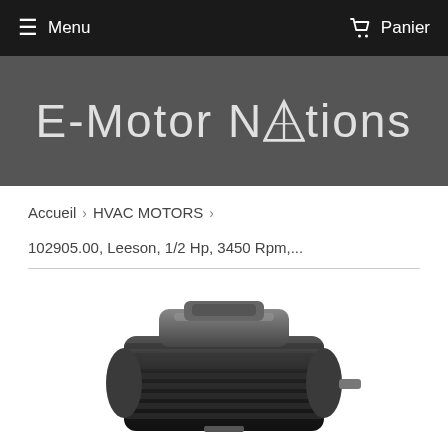Menu   Panier
E-Motor Nations
Accueil  >  HVAC MOTORS  >
102905.00, Leeson, 1/2 Hp, 3450 Rpm,...
[Figure (photo): Photo of a black HVAC electric motor (Leeson, 1/2 Hp, 3450 Rpm) showing top and side view of the motor housing]